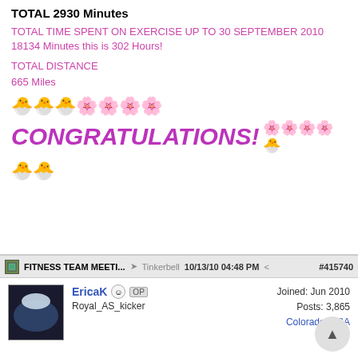TOTAL 2930 Minutes
TOTAL TIME SPENT ON EXERCISE UP TO 30 SEPTEMBER 2010
18134 Minutes this is 302 Hours!
TOTAL DISTANCE
665 Miles
[Figure (illustration): Row of smiley face and dancing girl emoji icons]
CONGRATULATIONS!
[Figure (illustration): More smiley face emoji icons]
FITNESS TEAM MEETI... Tinkerbell 10/13/10 04:48 PM #415740
EricaK OP
Royal_AS_kicker
Joined: Jun 2010
Posts: 3,865
Colorado, USA